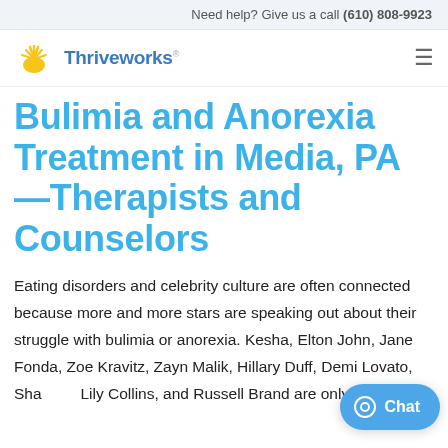Need help? Give us a call (610) 808-9923
[Figure (logo): Thriveworks logo with sun/rays icon and brand name]
Bulimia and Anorexia Treatment in Media, PA—Therapists and Counselors
Eating disorders and celebrity culture are often connected because more and more stars are speaking out about their struggle with bulimia or anorexia. Kesha, Elton John, Jane Fonda, Zoe Kravitz, Zayn Malik, Hillary Duff, Demi Lovato, Sha... Lily Collins, and Russell Brand are only a small